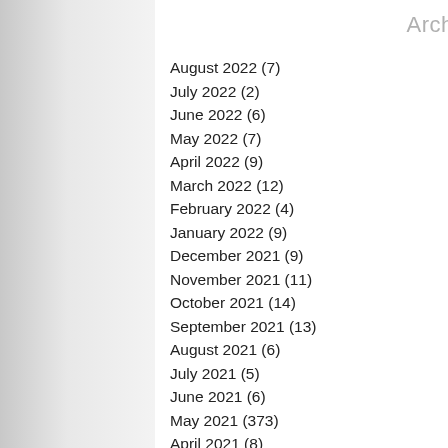Archive
August 2022 (7)
July 2022 (2)
June 2022 (6)
May 2022 (7)
April 2022 (9)
March 2022 (12)
February 2022 (4)
January 2022 (9)
December 2021 (9)
November 2021 (11)
October 2021 (14)
September 2021 (13)
August 2021 (6)
July 2021 (5)
June 2021 (6)
May 2021 (373)
April 2021 (8)
March 2021 (18)
February 2021 (…)